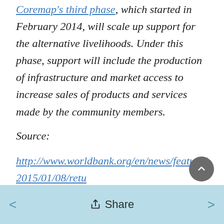Coremap's third phase, which started in February 2014, will scale up support for the alternative livelihoods. Under this phase, support will include the production of infrastructure and market access to increase sales of products and services made by the community members.
Source:
http://www.worldbank.org/en/news/feature/2015/01/08/retu of-coral-reefs-brings-good-fortunes-to-coastal-communities-in-indonesia
< Share >